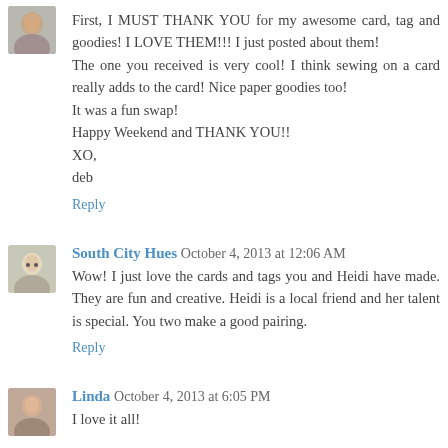First, I MUST THANK YOU for my awesome card, tag and goodies! I LOVE THEM!!! I just posted about them!
The one you received is very cool! I think sewing on a card really adds to the card! Nice paper goodies too!
It was a fun swap!
Happy Weekend and THANK YOU!!
XO,
deb
Reply
South City Hues October 4, 2013 at 12:06 AM
Wow! I just love the cards and tags you and Heidi have made. They are fun and creative. Heidi is a local friend and her talent is special. You two make a good pairing.
Reply
Linda October 4, 2013 at 6:05 PM
I love it all!